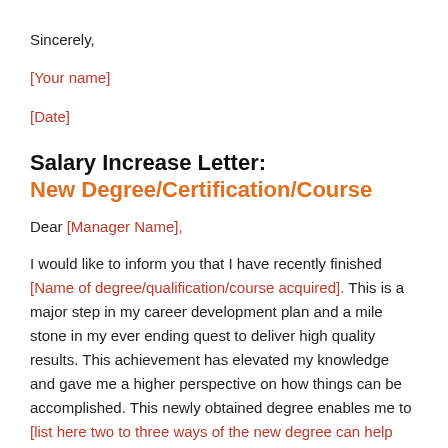Sincerely,
[Your name]
[Date]
Salary Increase Letter:
New Degree/Certification/Course
Dear [Manager Name],
I would like to inform you that I have recently finished [Name of degree/qualification/course acquired]. This is a major step in my career development plan and a mile stone in my ever ending quest to deliver high quality results. This achievement has elevated my knowledge and gave me a higher perspective on how things can be accomplished. This newly obtained degree enables me to [list here two to three ways of the new degree can help you in your job. This is